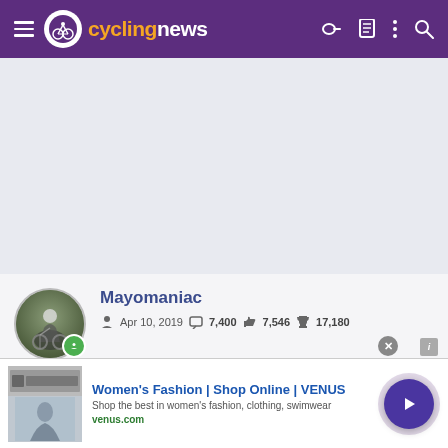cyclingnews — navigation header
[Figure (screenshot): Gray placeholder ad space area]
Mayomaniac — Apr 10, 2019 — 7,400 messages — 7,546 likes — 17,180 points
[Figure (infographic): Row of achievement/badge icons]
Women's Fashion | Shop Online | VENUS — Shop the best in women's fashion, clothing, swimwear — venus.com